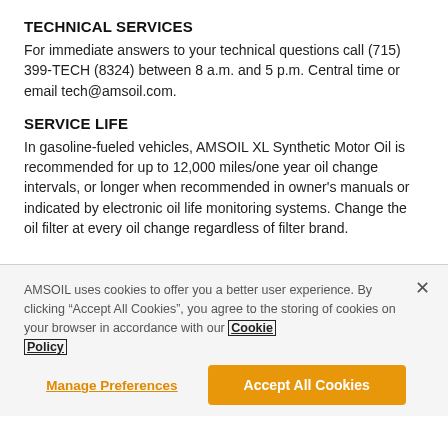TECHNICAL SERVICES
For immediate answers to your technical questions call (715) 399-TECH (8324) between 8 a.m. and 5 p.m. Central time or email tech@amsoil.com.
SERVICE LIFE
In gasoline-fueled vehicles, AMSOIL XL Synthetic Motor Oil is recommended for up to 12,000 miles/one year oil change intervals, or longer when recommended in owner's manuals or indicated by electronic oil life monitoring systems. Change the oil filter at every oil change regardless of filter brand.
AMSOIL uses cookies to offer you a better user experience. By clicking “Accept All Cookies”, you agree to the storing of cookies on your browser in accordance with our Cookie Policy
Manage Preferences
Accept All Cookies